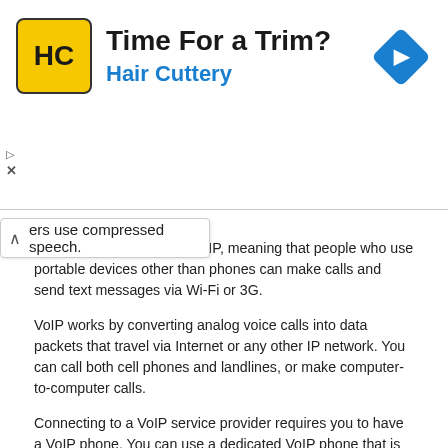[Figure (screenshot): Advertisement banner for Hair Cuttery with yellow logo, headline 'Time For a Trim?', subtext 'Hair Cuttery', and a blue diamond navigation arrow icon on the right.]
ers use compressed speech.
Internet devices can use VoIP, meaning that people who use portable devices other than phones can make calls and send text messages via Wi-Fi or 3G.
VoIP works by converting analog voice calls into data packets that travel via Internet or any other IP network. You can call both cell phones and landlines, or make computer-to-computer calls.
Connecting to a VoIP service provider requires you to have a VoIP phone. You can use a dedicated VoIP phone that is directly connected to the network using wireless Wi-Fi or wired Ethernet. These phones resemble regular digital business phones.
Analog telephone adapters implement the firmware and electronics to operate a regular analog phone attached through a phone jack. Some cable modems come with